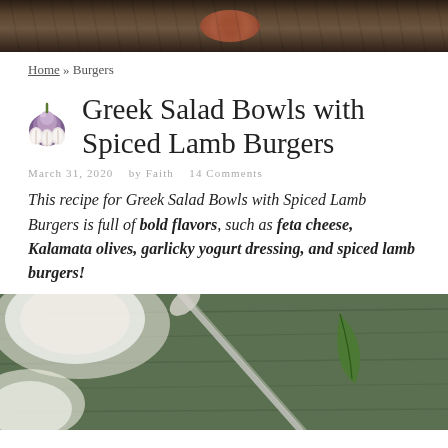[Figure (photo): Top photo showing food on a dark plate/surface, partially cropped]
Home » Burgers
Greek Salad Bowls with Spiced Lamb Burgers
March 31, 2020   by Faith   14 Comments
This recipe for Greek Salad Bowls with Spiced Lamb Burgers is full of bold flavors, such as feta cheese, Kalamata olives, garlicky yogurt dressing, and spiced lamb burgers!
[Figure (photo): Bottom photo showing a bowl with white dressing/yogurt, a vintage silver spoon, and green leaves on a rustic wooden surface]